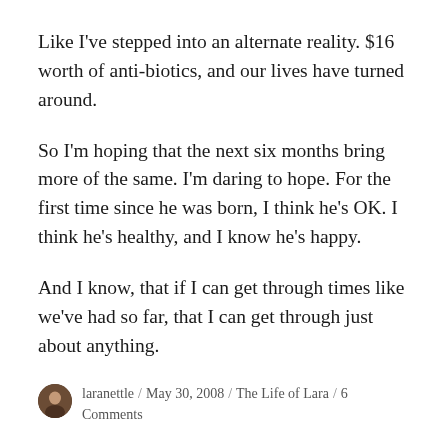Like I've stepped into an alternate reality. $16 worth of anti-biotics, and our lives have turned around.
So I'm hoping that the next six months bring more of the same. I'm daring to hope. For the first time since he was born, I think he's OK. I think he's healthy, and I know he's happy.
And I know, that if I can get through times like we've had so far, that I can get through just about anything.
laranettle / May 30, 2008 / The Life of Lara / 6 Comments